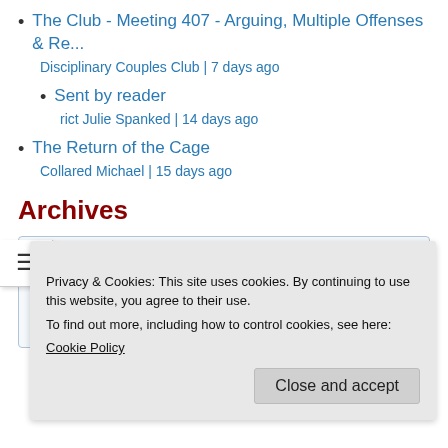The Club - Meeting 407 - Arguing, Multiple Offenses & Re...
Disciplinary Couples Club | 7 days ago
Sent by reader
rict Julie Spanked | 14 days ago
The Return of the Cage
Collared Michael | 15 days ago
Archives
2022
2018
Privacy & Cookies: This site uses cookies. By continuing to use this website, you agree to their use.
To find out more, including how to control cookies, see here:
Cookie Policy
Close and accept